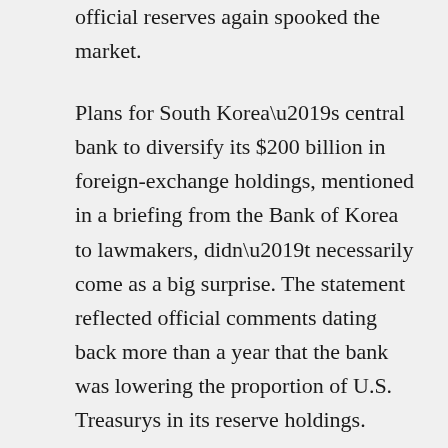official reserves again spooked the market.
Plans for South Korea’s central bank to diversify its $200 billion in foreign-exchange holdings, mentioned in a briefing from the Bank of Korea to lawmakers, didn’t necessarily come as a big surprise. The statement reflected official comments dating back more than a year that the bank was lowering the proportion of U.S. Treasurys in its reserve holdings.
But the publicity garnered by the Bank of Korea document on Monday and